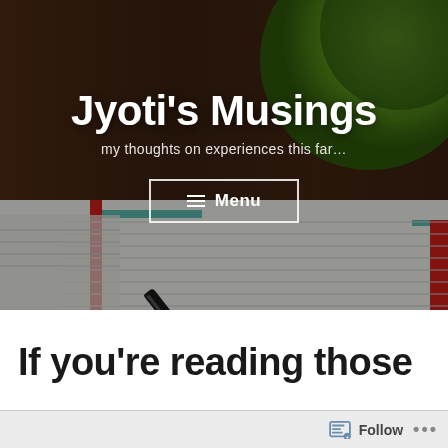[Figure (photo): Hero banner image showing a notebook with lined pages, a pen resting on it, and a green apple in the upper right corner on a wooden desk. Dark overlay applied.]
Jyoti's Musings
my thoughts on experiences this far…
≡ Menu
If you're reading those
Follow •••